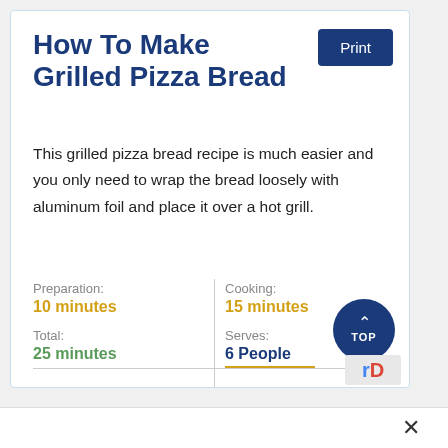How To Make Grilled Pizza Bread
This grilled pizza bread recipe is much easier and you only need to wrap the bread loosely with aluminum foil and place it over a hot grill.
Preparation: 10 minutes
Cooking: 15 minutes
Total: 25 minutes
Serves: 6 People